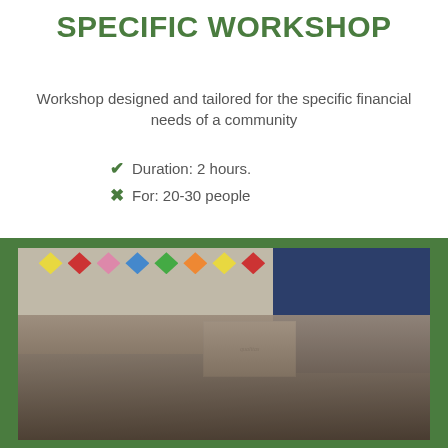SPECIFIC WORKSHOP
Workshop designed and tailored for the specific financial needs of a community
Duration: 2 hours.
For: 20-30 people
[Figure (photo): Group photo of approximately 20-30 workshop participants holding certificates, gathered in a large room decorated with colorful papel picado flags. A banner with 'qualitas' branding is visible in the background. Participants are holding green bags and certificates.]